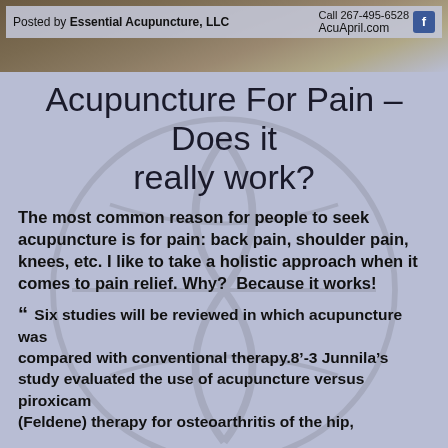[Figure (photo): Banner image showing a person outdoors with overlay bar containing text 'Posted by Essential Acupuncture, LLC', phone number 'Call 267-495-6528', website 'AcuApril.com', and Facebook icon]
Acupuncture For Pain – Does it really work?
The most common reason for people to seek acupuncture is for pain: back pain, shoulder pain, knees, etc. I like to take a holistic approach when it comes to pain relief. Why?  Because it works!
" Six studies will be reviewed in which acupuncture was compared with conventional therapy.8'-3 Junnila's study evaluated the use of acupuncture versus piroxicam (Feldene) therapy for osteoarthritis of the hip,